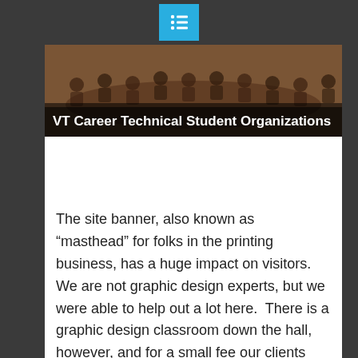[Figure (photo): Website screenshot showing a dark top navigation bar with a cyan/blue list-menu icon in the center, followed by a banner image of people in a meeting room with the text 'VT Career Technical Student Organizations' overlaid.]
VT Career Technical Student Organizations
The site banner, also known as “masthead” for folks in the printing business, has a huge impact on visitors. We are not graphic design experts, but we were able to help out a lot here.  There is a graphic design classroom down the hall, however, and for a small fee our clients can distract those busy and very talented students long enough to come up with